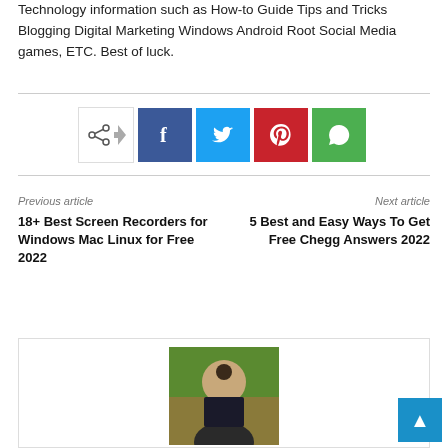Technology information such as How-to Guide Tips and Tricks Blogging Digital Marketing Windows Android Root Social Media games, ETC. Best of luck.
[Figure (infographic): Social share bar with share icon, Facebook, Twitter, Pinterest, and WhatsApp buttons]
Previous article
18+ Best Screen Recorders for Windows Mac Linux for Free 2022
Next article
5 Best and Easy Ways To Get Free Chegg Answers 2022
[Figure (photo): Profile photo of a bearded man outdoors near water with green trees in background]